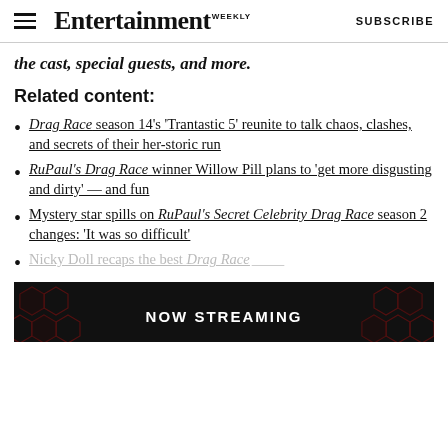Entertainment Weekly  SUBSCRIBE
the cast, special guests, and more.
Related content:
Drag Race season 14's 'Trantastic 5' reunite to talk chaos, clashes, and secrets of their her-storic run
RuPaul's Drag Race winner Willow Pill plans to 'get more disgusting and dirty' — and fun
Mystery star spills on RuPaul's Secret Celebrity Drag Race season 2 changes: 'It was so difficult'
Nicky Doll recaps the best Drag Race
[Figure (screenshot): NOW STREAMING banner with dark hexagonal pattern background]